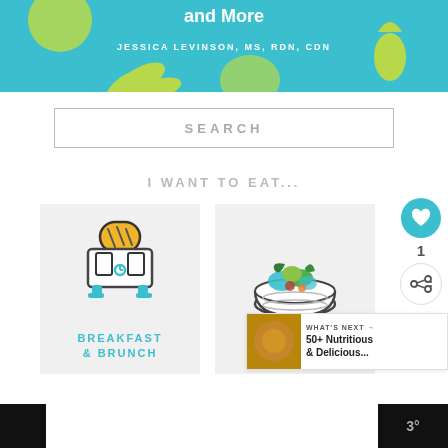[Figure (illustration): Book cover banner with teal/blue background, featuring fruit illustrations (pineapple, lime, leaves) and text 'and More' and 'JESSICA LEVINSON, MS, RDN, CDN' in white]
SEARCH
I WANT TO EAT...
[Figure (illustration): Icon of a toaster with toast, outlined style with teal and yellow/orange colors, on light gray card background with label BREAKFAST & BRUNCH]
[Figure (illustration): Icon of a salad bowl with vegetables in outlined style with teal and green colors, on light gray card background with label SALADS]